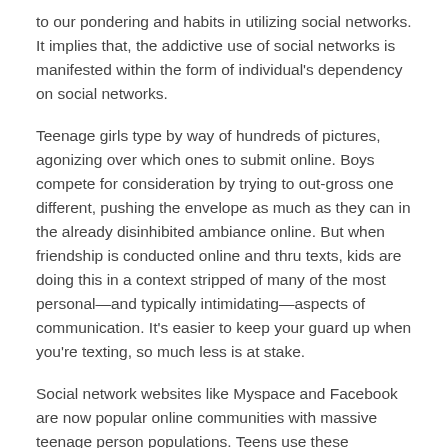to our pondering and habits in utilizing social networks. It implies that, the addictive use of social networks is manifested within the form of individual's dependency on social networks.
Teenage girls type by way of hundreds of pictures, agonizing over which ones to submit online. Boys compete for consideration by trying to out-gross one different, pushing the envelope as much as they can in the already disinhibited ambiance online. But when friendship is conducted online and thru texts, kids are doing this in a context stripped of many of the most personal—and typically intimidating—aspects of communication. It's easier to keep your guard up when you're texting, so much less is at stake.
Social network websites like Myspace and Facebook are now popular online communities with massive teenage person populations. Teens use these technologies to interact, play, explore, and be taught in vital methods. As students become interested in learning these new on-line communities, I